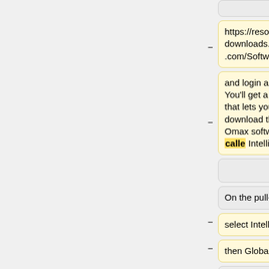account, go to
https://resource-downloads.omax.com/Software
https://resource-downloads.omax.com/Software
and login again. You'll get a page that lets you download the Omax software, calle IntelliMAX.
and login again. You'll get a page that lets you download the Omax software, called IntelliMAX.
On the pull-down,
On the pull-down,
select Intelli-MAX
then GlobalMAX
* select Intelli-MAX
then Windows 10
* then